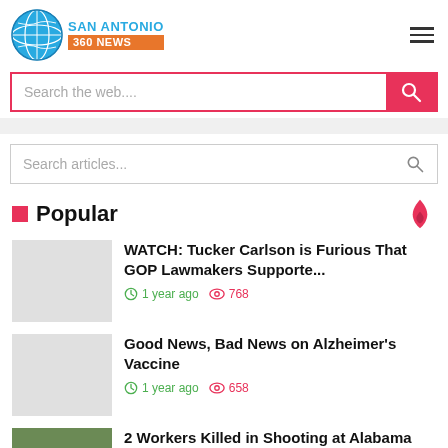[Figure (logo): San Antonio 360 News logo with globe icon]
Search the web....
Search articles...
Popular
WATCH: Tucker Carlson is Furious That GOP Lawmakers Supporte...
1 year ago  768
Good News, Bad News on Alzheimer's Vaccine
1 year ago  658
2 Workers Killed in Shooting at Alabama Fire